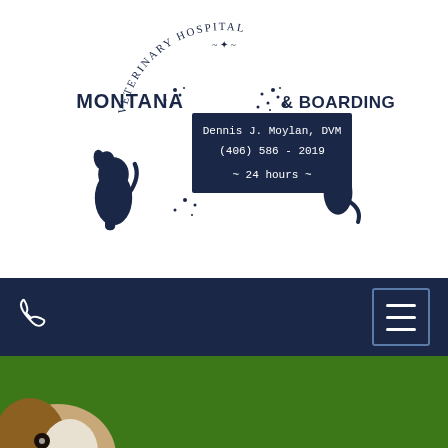[Figure (logo): Montana Veterinary Hospital & Boarding logo with circular text, dog and cat/kangaroo silhouettes, and contact info box for Dennis J. Moylan DVM, (406) 586-2019, 24 hours]
[Figure (photo): Navigation bar with phone icon on left and hamburger menu button on right, dark navy background]
[Figure (photo): Hero photo of a dog (Jack Russell terrier type) running through green grass field]